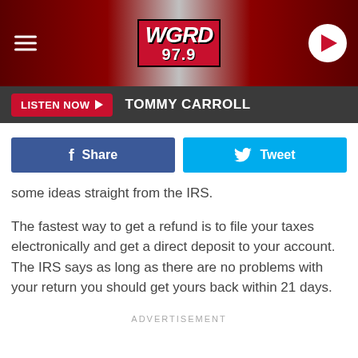[Figure (screenshot): WGRD 97.9 radio station header with hamburger menu, logo, and play button on dark red gradient background]
[Figure (screenshot): Listen Now button with Tommy Carroll text on dark grey bar]
[Figure (screenshot): Facebook Share and Twitter Tweet social sharing buttons]
some ideas straight from the IRS.
The fastest way to get a refund is to file your taxes electronically and get a direct deposit to your account. The IRS says as long as there are no problems with your return you should get yours back within 21 days.
ADVERTISEMENT